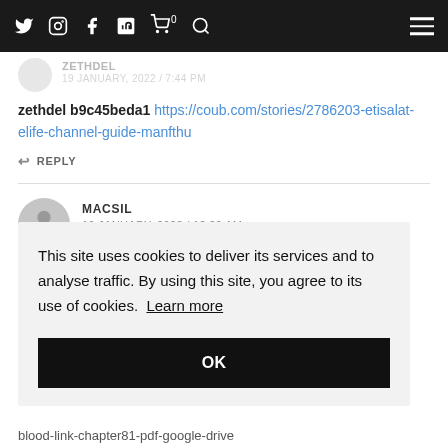Navigation bar with social icons and hamburger menu
zethdel b9c45beda1 https://coub.com/stories/2786203-etisalat-elife-channel-guide-manfthu
↩ REPLY
MACSIL
19 JANUARY, 2022 / 12:29 AM
This site uses cookies to deliver its services and to analyse traffic. By using this site, you agree to its use of cookies. Learn more
OK
blood-link-chapter81-pdf-google-drive